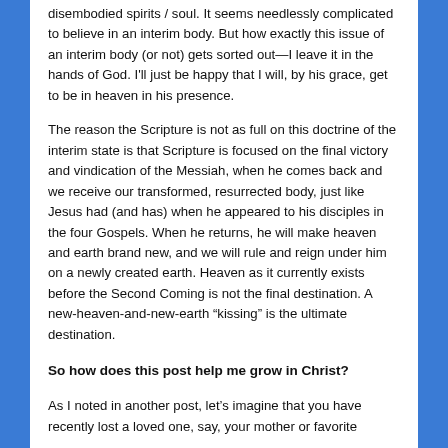disembodied spirits / soul. It seems needlessly complicated to believe in an interim body. But how exactly this issue of an interim body (or not) gets sorted out—I leave it in the hands of God. I'll just be happy that I will, by his grace, get to be in heaven in his presence.
The reason the Scripture is not as full on this doctrine of the interim state is that Scripture is focused on the final victory and vindication of the Messiah, when he comes back and we receive our transformed, resurrected body, just like Jesus had (and has) when he appeared to his disciples in the four Gospels. When he returns, he will make heaven and earth brand new, and we will rule and reign under him on a newly created earth. Heaven as it currently exists before the Second Coming is not the final destination. A new-heaven-and-new-earth “kissing” is the ultimate destination.
So how does this post help me grow in Christ?
As I noted in another post, let’s imagine that you have recently lost a loved one, say, your mother or favorite